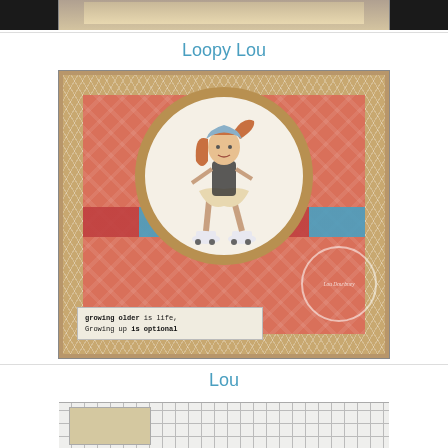[Figure (photo): Partial view of a handmade card at the top of the page, cropped]
Loopy Lou
[Figure (photo): Handmade greeting card featuring a girl on roller skates with flowing hair and blue helmet, set in a circular frame on a patterned coral/tan background. The card reads 'growing older is life, Growing up is optional']
Lou
[Figure (photo): Partial view of another handmade card at the bottom, cropped, on a grid background]